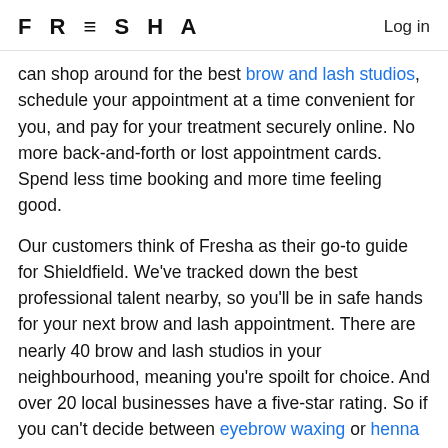FRESHA  Log in
can shop around for the best brow and lash studios, schedule your appointment at a time convenient for you, and pay for your treatment securely online. No more back-and-forth or lost appointment cards. Spend less time booking and more time feeling good.
Our customers think of Fresha as their go-to guide for Shieldfield. We've tracked down the best professional talent nearby, so you'll be in safe hands for your next brow and lash appointment. There are nearly 40 brow and lash studios in your neighbourhood, meaning you're spoilt for choice. And over 20 local businesses have a five-star rating. So if you can't decide between eyebrow waxing or henna brows, let the customer reviews on Fresha help you select the right businesses for your next...